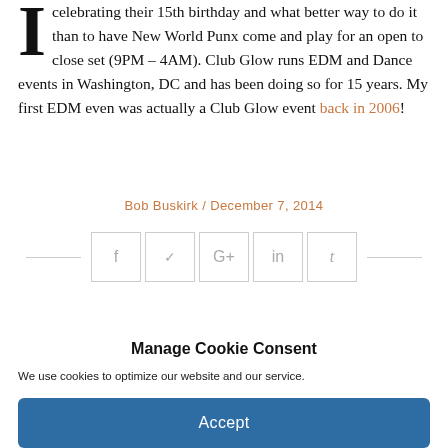celebrating their 15th birthday and what better way to do it than to have New World Punx come and play for an open to close set (9PM – 4AM). Club Glow runs EDM and Dance events in Washington, DC and has been doing so for 15 years. My first EDM even was actually a Club Glow event back in 2006!
Bob Buskirk / December 7, 2014
[Figure (other): Social sharing buttons row: Facebook (f), Twitter (bird), Google+ (G+), LinkedIn (in), Tumblr (t), flanked by horizontal lines]
Manage Cookie Consent
We use cookies to optimize our website and our service.
Accept